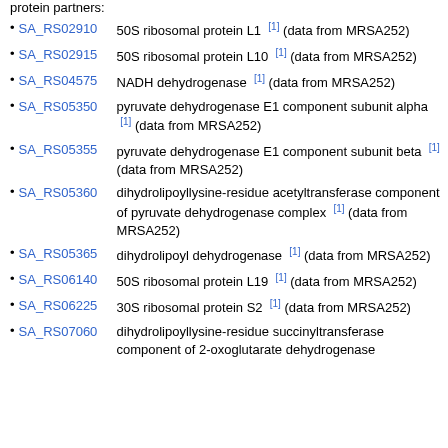SA_RS02910 — 50S ribosomal protein L1 [1] (data from MRSA252)
SA_RS02915 — 50S ribosomal protein L10 [1] (data from MRSA252)
SA_RS04575 — NADH dehydrogenase [1] (data from MRSA252)
SA_RS05350 — pyruvate dehydrogenase E1 component subunit alpha [1] (data from MRSA252)
SA_RS05355 — pyruvate dehydrogenase E1 component subunit beta [1] (data from MRSA252)
SA_RS05360 — dihydrolipoyllysine-residue acetyltransferase component of pyruvate dehydrogenase complex [1] (data from MRSA252)
SA_RS05365 — dihydrolipoyl dehydrogenase [1] (data from MRSA252)
SA_RS06140 — 50S ribosomal protein L19 [1] (data from MRSA252)
SA_RS06225 — 30S ribosomal protein S2 [1] (data from MRSA252)
SA_RS07060 — dihydrolipoyllysine-residue succinyltransferase component of 2-oxoglutarate dehydrogenase